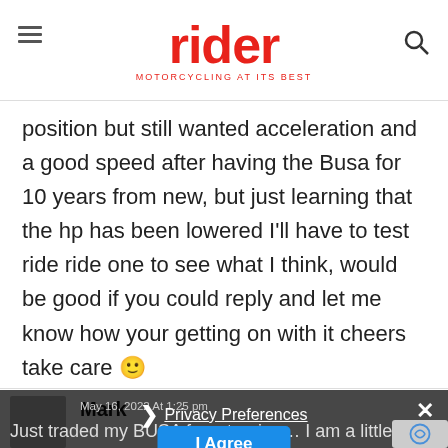rider — MOTORCYCLING AT ITS BEST
position but still wanted acceleration and a good speed after having the Busa for 10 years from new, but just learning that the hp has been lowered I'll have to test ride ride one to see what I think, would be good if you could reply and let me know how your getting on with it cheers take care 🙂
Reply
Mark
May 16, 2022 At 1:25 pm
Just traded my BUSA for a touring… I am a little worried I will miss the rush of the B I seriously NEE down though. It arrives on Wednesday